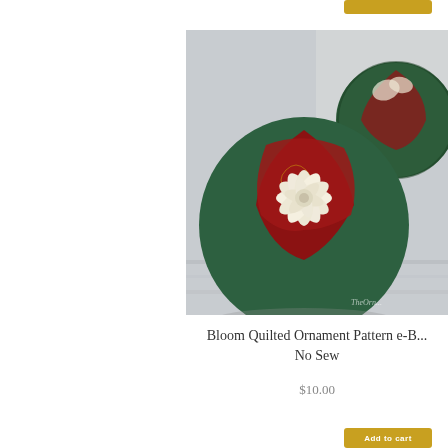[Figure (photo): Two decorative quilted ornament balls resting on a white wooden surface. The foreground ornament is larger, featuring dark green and red fabric pieced in a star/pinwheel pattern with a cream satin ribbon folded flower in the center. A second ornament in similar colors is partially visible in the upper right background. A small watermark reads 'TheOrn...' in the lower right corner.]
Bloom Quilted Ornament Pattern e-B... No Sew
$10.00